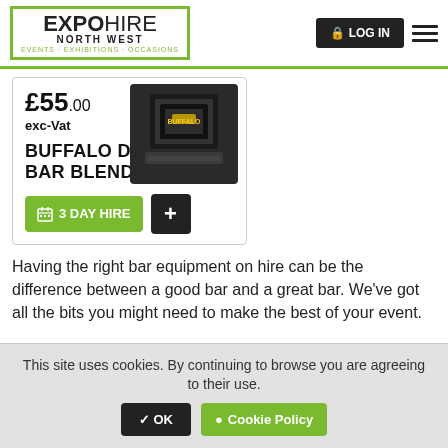EXPO HIRE NORTH WEST — EVENTS · EXHIBITIONS · OCCASIONS — LOG IN
[Figure (photo): Buffalo Digital Bar Blender product image — black compact blender unit]
£55.00 exc-Vat
BUFFALO DIGITAL BAR BLENDER
3 DAY HIRE
Having the right bar equipment on hire can be the difference between a good bar and a great bar. We've got all the bits you might need to make the best of your event.
This site uses cookies. By continuing to browse you are agreeing to their use. OK  Cookie Policy